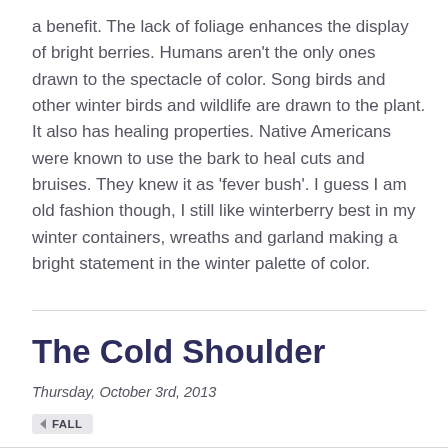a benefit. The lack of foliage enhances the display of bright berries. Humans aren't the only ones drawn to the spectacle of color. Song birds and other winter birds and wildlife are drawn to the plant. It also has healing properties. Native Americans were known to use the bark to heal cuts and bruises. They knew it as 'fever bush'. I guess I am old fashion though, I still like winterberry best in my winter containers, wreaths and garland making a bright statement in the winter palette of color.
The Cold Shoulder
Thursday, October 3rd, 2013
• FALL